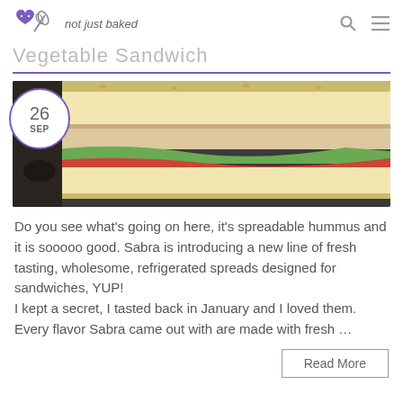not just baked
Vegetable Sandwich
[Figure (photo): Close-up photo of a sandwich with white bread, chicken or fish, lettuce, and tomato, with a date badge showing 26 SEP overlaid on the top-left corner]
Do you see what's going on here, it's spreadable hummus and it is sooooo good. Sabra is introducing a new line of fresh tasting, wholesome, refrigerated spreads designed for sandwiches, YUP!
I kept a secret, I tasted back in January and I loved them. Every flavor Sabra came out with are made with fresh ...
Read More